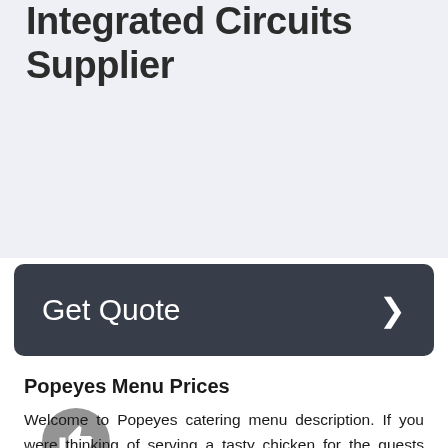Integrated Circuits Supplier
Get Quote
Popeyes Menu Prices
Welcome to Popeyes catering menu description. If you were thinking of serving a tasty chicken for the guests during your next occasion – this company is a perfect option for you. Popeyes has over 1800 locations in 40 different American states which means